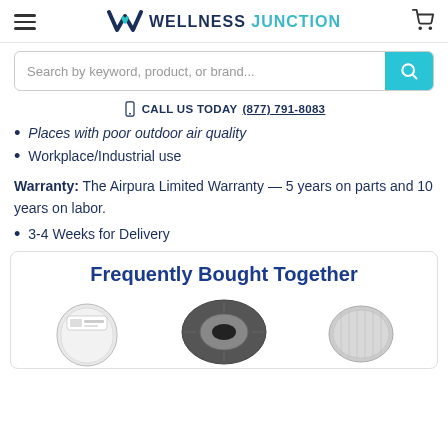WELLNESS JUNCTION
Search by keyword, product, or brand...
CALL US TODAY (877) 791-8083
Places with poor outdoor air quality
Workplace/Industrial use
Warranty: The Airpura Limited Warranty — 5 years on parts and 10 years on labor.
3-4 Weeks for Delivery
Frequently Bought Together
[Figure (photo): Three air purifier product images shown side by side]